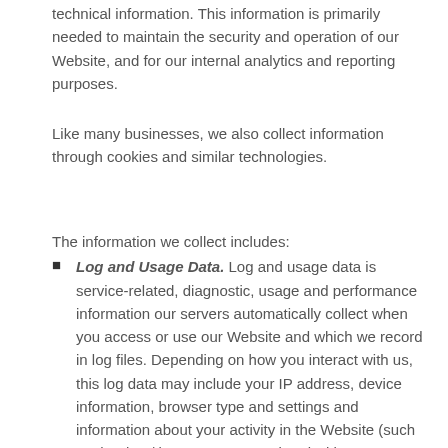technical information. This information is primarily needed to maintain the security and operation of our Website, and for our internal analytics and reporting purposes.
Like many businesses, we also collect information through cookies and similar technologies.
The information we collect includes:
Log and Usage Data. Log and usage data is service-related, diagnostic, usage and performance information our servers automatically collect when you access or use our Website and which we record in log files. Depending on how you interact with us, this log data may include your IP address, device information, browser type and settings and information about your activity in the Website (such as the date/time stamps associated with your usage, pages and files viewed, searches and other actions you take such as which features you use), device event information (such as system activity, error reports (sometimes called 'crash dumps') and hardware settings).